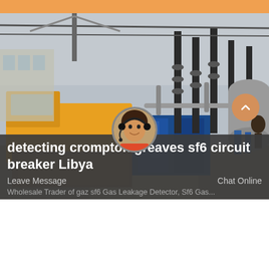[Figure (photo): Electrical substation with yellow truck, blue containers, insulators and overhead equipment in an industrial outdoor setting]
detecting crompton greaves sf6 circuit breaker Libya
Leave Message
Chat Online
Wholesale Trader of gaz sf6 Gas Leakage Detector, Sf6 Gas...